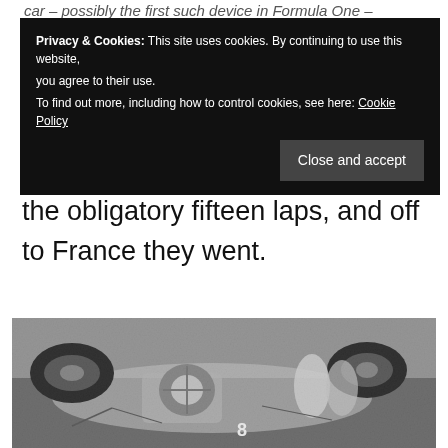car – possibly the first such device in Formula One –
[Figure (screenshot): Cookie consent banner overlay with dark background reading: 'Privacy & Cookies: This site uses cookies. By continuing to use this website, you agree to their use. To find out more, including how to control cookies, see here: Cookie Policy' with a 'Close and accept' button.]
distilled, they could forget about it. Do the obligatory fifteen laps, and off to France they went.
[Figure (photo): Black and white photograph of a Formula One racing car viewed from above/side angle, showing mechanical components including engine, wheels and body. The car appears to be car number 8.]